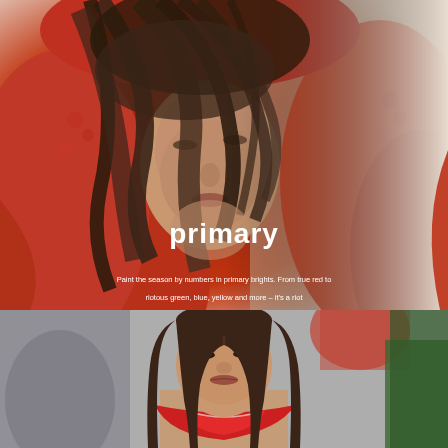[Figure (photo): Close-up of a young woman partially obscured by windswept brown hair, wearing a bright red fuzzy/bouclé oversized coat or hood. Background transitions from dark red to white/cream on the right side.]
primary
Paint the season by numbers in primary brights. From true red to riotous green, blue, yellow and more – it's a riot
[Figure (photo): A young female model with straight brown hair parted in the middle, wearing a red scarf/neckerchief, photographed at what appears to be a fashion runway show. Blurred green background element visible on the right.]